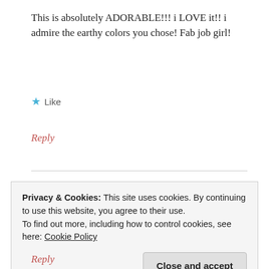This is absolutely ADORABLE!!! i LOVE it!! i admire the earthy colors you chose! Fab job girl!
★ Like
Reply
Renkata
OCTOBER 11, 2010 AT 4:16 PM
Privacy & Cookies: This site uses cookies. By continuing to use this website, you agree to their use.
To find out more, including how to control cookies, see here: Cookie Policy
Close and accept
Reply